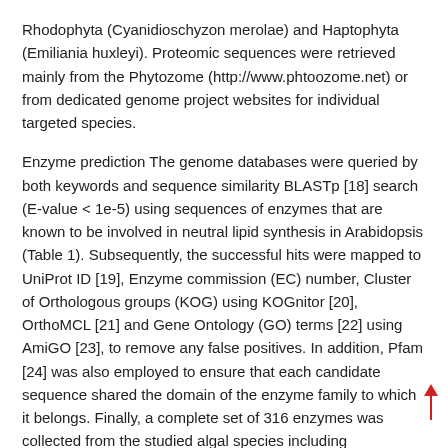Rhodophyta (Cyanidioschyzon merolae) and Haptophyta (Emiliania huxleyi). Proteomic sequences were retrieved mainly from the Phytozome (http://www.phtoozome.net) or from dedicated genome project websites for individual targeted species.
Enzyme prediction The genome databases were queried by both keywords and sequence similarity BLASTp [18] search (E-value < 1e-5) using sequences of enzymes that are known to be involved in neutral lipid synthesis in Arabidopsis (Table 1). Subsequently, the successful hits were mapped to UniProt ID [19], Enzyme commission (EC) number, Cluster of Orthologous groups (KOG) using KOGnitor [20], OrthoMCL [21] and Gene Ontology (GO) terms [22] using AmiGO [23], to remove any false positives. In addition, Pfam [24] was also employed to ensure that each candidate sequence shared the domain of the enzyme family to which it belongs. Finally, a complete set of 316 enzymes was collected from the studied algal species including Arabidopsis, for further detailed analysis of functional annotations as discussed below.